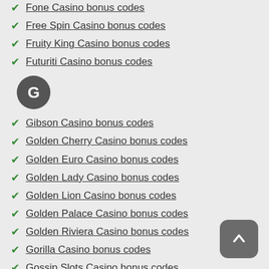Fone Casino bonus codes
Free Spin Casino bonus codes
Fruity King Casino bonus codes
Futuriti Casino bonus codes
[Figure (other): Dark circular badge with letter G inside]
Gibson Casino bonus codes
Golden Cherry Casino bonus codes
Golden Euro Casino bonus codes
Golden Lady Casino bonus codes
Golden Lion Casino bonus codes
Golden Palace Casino bonus codes
Golden Riviera Casino bonus codes
Gorilla Casino bonus codes
Gossip Slots Casino bonus codes
GoWild Casino bonus codes
Grand Bay Casino bonus codes
Grand Eagle Casino bonus codes